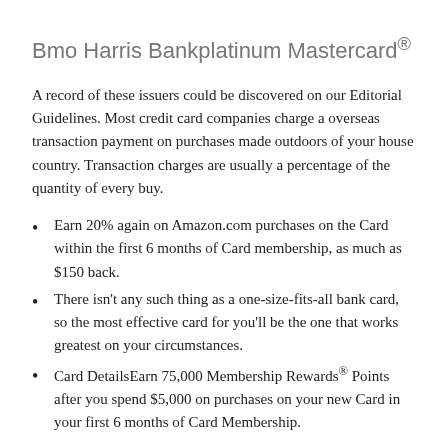Bmo Harris Bankplatinum Mastercard®
A record of these issuers could be discovered on our Editorial Guidelines. Most credit card companies charge a overseas transaction payment on purchases made outdoors of your house country. Transaction charges are usually a percentage of the quantity of every buy.
Earn 20% again on Amazon.com purchases on the Card within the first 6 months of Card membership, as much as $150 back.
There isn't any such thing as a one-size-fits-all bank card, so the most effective card for you'll be the one that works greatest on your circumstances.
Card DetailsEarn 75,000 Membership Rewards® Points after you spend $5,000 on purchases on your new Card in your first 6 months of Card Membership.